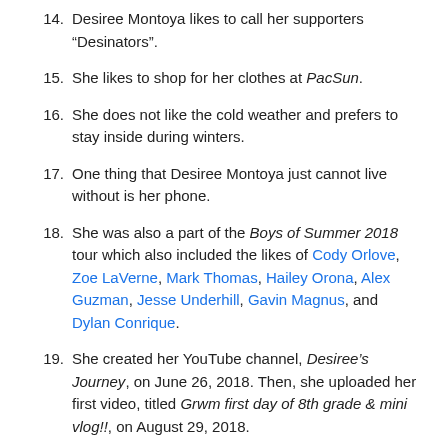14. Desiree Montoya likes to call her supporters “Desinators”.
15. She likes to shop for her clothes at PacSun.
16. She does not like the cold weather and prefers to stay inside during winters.
17. One thing that Desiree Montoya just cannot live without is her phone.
18. She was also a part of the Boys of Summer 2018 tour which also included the likes of Cody Orlove, Zoe LaVerne, Mark Thomas, Hailey Orona, Alex Guzman, Jesse Underhill, Gavin Magnus, and Dylan Conrique.
19. She created her YouTube channel, Desiree’s Journey, on June 26, 2018. Then, she uploaded her first video, titled Grwm first day of 8th grade & mini vlog!!, on August 29, 2018.